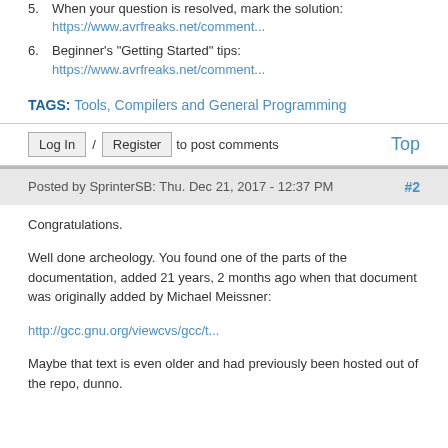5. When your question is resolved, mark the solution: https://www.avrfreaks.net/comment...
6. Beginner's "Getting Started" tips: https://www.avrfreaks.net/comment...
TAGS: Tools, Compilers and General Programming
Log In / Register to post comments    Top
Posted by SprinterSB: Thu. Dec 21, 2017 - 12:37 PM    #2
Congratulations.
Well done archeology. You found one of the parts of the documentation, added 21 years, 2 months ago when that document was originally added by Michael Meissner:
http://gcc.gnu.org/viewcvs/gcc/t...
Maybe that text is even older and had previously been hosted out of the repo, dunno.